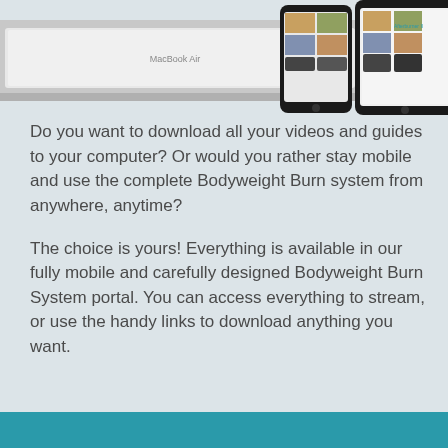[Figure (photo): Photo showing a MacBook Air laptop, a smartphone, and a tablet displaying the Bodyweight Burn system portal interface, arranged against a light gray background.]
Do you want to download all your videos and guides to your computer? Or would you rather stay mobile and use the complete Bodyweight Burn system from anywhere, anytime?
The choice is yours! Everything is available in our fully mobile and carefully designed Bodyweight Burn System portal. You can access everything to stream, or use the handy links to download anything you want.